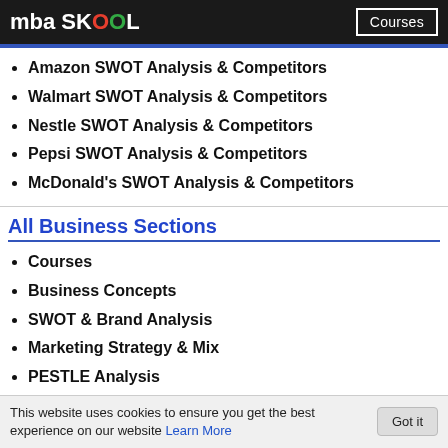mba SKOOL | Courses
Amazon SWOT Analysis & Competitors
Walmart SWOT Analysis & Competitors
Nestle SWOT Analysis & Competitors
Pepsi SWOT Analysis & Competitors
McDonald's SWOT Analysis & Competitors
All Business Sections
Courses
Business Concepts
SWOT & Brand Analysis
Marketing Strategy & Mix
PESTLE Analysis
Five Forces Analysis
Top Brand Lists
This website uses cookies to ensure you get the best experience on our website Learn More Got it